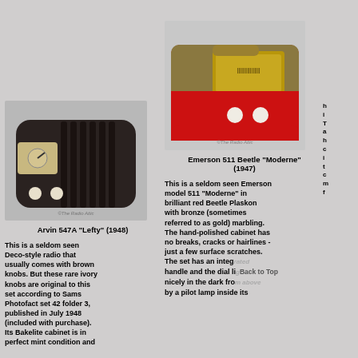[Figure (photo): Arvin 547A Lefty 1948 vintage dark brown Bakelite Deco-style radio with ivory knobs and square dial]
Arvin 547A "Lefty" (1948)
This is a seldom seen Deco-style radio that usually comes with brown knobs. But these rare ivory knobs are original to this set according to Sams Photofact set 42 folder 3, published in July 1948 (included with purchase). Its Bakelite cabinet is in perfect mint condition and
[Figure (photo): Emerson 511 Beetle Moderne 1947 vintage red Plaskon radio with bronze/gold marbling and integrated handle]
Emerson 511 Beetle "Moderne" (1947)
This is a seldom seen Emerson model 511 "Moderne" in brilliant red Beetle Plaskon with bronze (sometimes referred to as gold) marbling. The hand-polished cabinet has no breaks, cracks or hairlines - just a few surface scratches. The set has an integrated handle and the dial lights nicely in the dark from above by a pilot lamp inside its
Back to Top
above